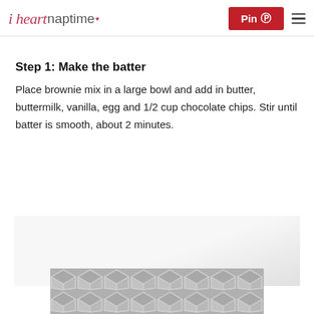i heart naptime — Pin — menu
Step 1: Make the batter
Place brownie mix in a large bowl and add in butter, buttermilk, vanilla, egg and 1/2 cup chocolate chips. Stir until batter is smooth, about 2 minutes.
[Figure (other): Advertisement placeholder box with light gray gradient background]
[Figure (other): Geometric diamond/chevron pattern banner in gray and white at bottom of page]